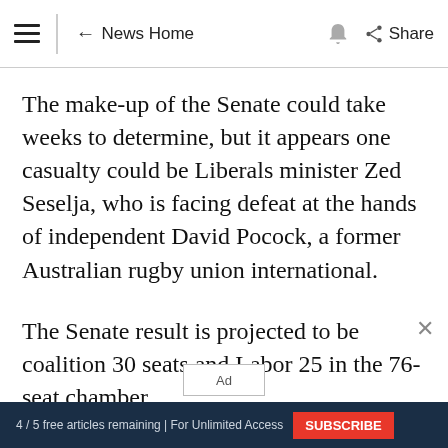≡  ← News Home  🔔  Share
The make-up of the Senate could take weeks to determine, but it appears one casualty could be Liberals minister Zed Seselja, who is facing defeat at the hands of independent David Pocock, a former Australian rugby union international.
The Senate result is projected to be coalition 30 seats and Labor 25 in the 76-seat chamber
4 / 5 free articles remaining | For Unlimited Access  SUBSCRIBE